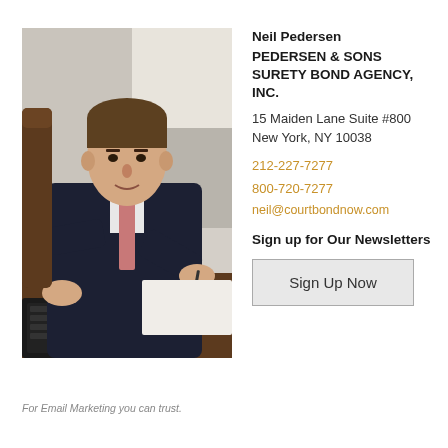[Figure (photo): Professional man in dark suit and pink tie, sitting at a desk signing documents, with a keyboard and office furniture visible in the background.]
Neil Pedersen
PEDERSEN & SONS SURETY BOND AGENCY, INC.
15 Maiden Lane Suite #800
New York, NY 10038
212-227-7277
800-720-7277
neil@courtbondnow.com
Sign up for Our Newsletters
Sign Up Now
For Email Marketing you can trust.